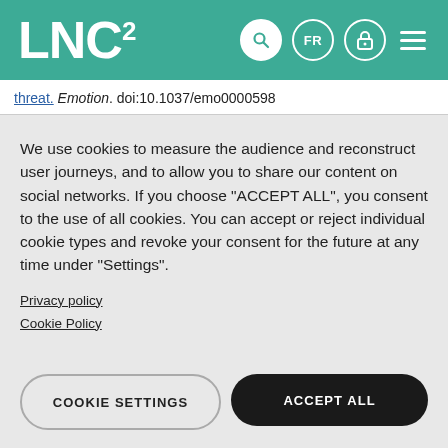LNC²
threat. Emotion. doi:10.1037/emo0000598
We use cookies to measure the audience and reconstruct user journeys, and to allow you to share our content on social networks. If you choose "ACCEPT ALL", you consent to the use of all cookies. You can accept or reject individual cookie types and revoke your consent for the future at any time under "Settings".
Privacy policy
Cookie Policy
COOKIE SETTINGS
ACCEPT ALL